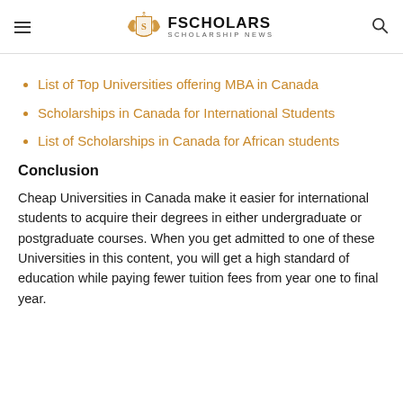FSCHOLARS SCHOLARSHIP NEWS
List of Top Universities offering MBA in Canada
Scholarships in Canada for International Students
List of Scholarships in Canada for African students
Conclusion
Cheap Universities in Canada make it easier for international students to acquire their degrees in either undergraduate or postgraduate courses. When you get admitted to one of these Universities in this content, you will get a high standard of education while paying fewer tuition fees from year one to final year.